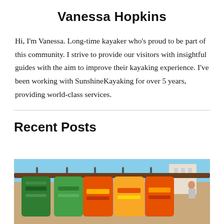Vanessa Hopkins
Hi, I'm Vanessa. Long-time kayaker who's proud to be part of this community. I strive to provide our visitors with insightful guides with the aim to improve their kayaking experience. I've been working with SunshineKayaking for over 5 years, providing world-class services.
Recent Posts
[Figure (photo): Photo of colorful life jackets (green, yellow, orange) hanging on a wooden rack at a beach, with a blue sky and buildings in the background.]